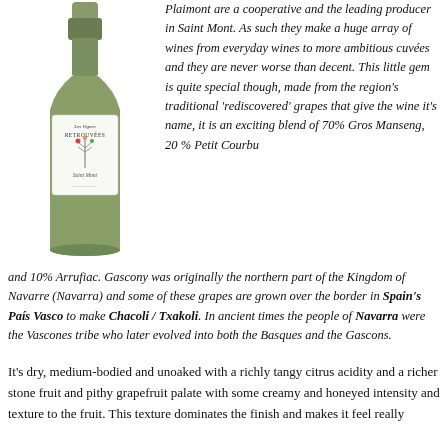[Figure (illustration): A wine bottle with a white label reading 'Les Vignes Retrouvées, Saint Mont']
Plaimont are a cooperative and the leading producer in Saint Mont. As such they make a huge array of wines from everyday wines to more ambitious cuvées and they are never worse than decent. This little gem is quite special though, made from the region's traditional 'rediscovered' grapes that give the wine it's name, it is an exciting blend of 70% Gros Manseng, 20 % Petit Courbu and 10% Arrufiac. Gascony was originally the northern part of the Kingdom of Navarre (Navarra) and some of these grapes are grown over the border in Spain's País Vasco to make Chacoli / Txakoli. In ancient times the people of Navarra were the Vascones tribe who later evolved into both the Basques and the Gascons.
It's dry, medium-bodied and unoaked with a richly tangy citrus acidity and a richer stone fruit and pithy grapefruit palate with some creamy and honeyed intensity and texture to the fruit. This texture dominates the finish and makes it feel really